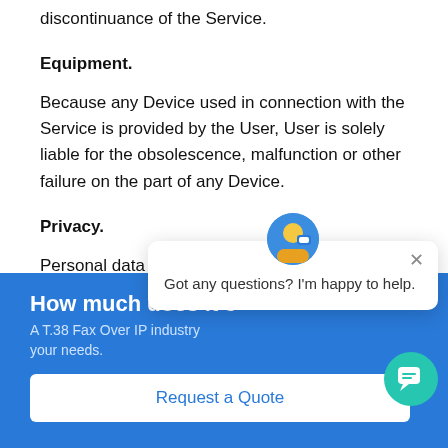discontinuance of the Service.
Equipment.
Because any Device used in connection with the Service is provided by the User, User is solely liable for the obsolescence, malfunction or other failure on the part of any Device.
Privacy.
Personal data and ce...
How much does it c...
A T.38 Fax Over IP industry ... your needs.
Request a Quote
Got any questions? I'm happy to help.